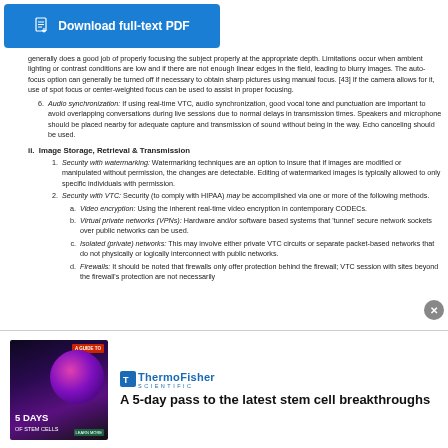[Figure (screenshot): Download full-text PDF button — blue rectangle with document icon and text]
generally does a good job of properly focusing the subject properly at the appropriate depth. Limitations occur when ambient lighting or contrast conditions are low and if there are not enough linear edges in the field, leading to blurry images. The auto-focus option can generally be turned off if necessary to obtain sharp pictures using manual focus. [43] If the camera allows for it, use of spot focus or center-weighted focus can be used to assist in proper focusing.
6. Audio synchronization: If using real-time VTC, audio synchronization, good vocal tone and punctuation are important to avoid overlapping conversations during live sessions due to normal delays in transmission times. Speakers and microphone should be placed nearby for adequate capture and transmission of sound without being in the way. Echo canceling should be used.
ii. Image Storage, Retrieval & Transmission
1. Security with watermarking: Watermarking techniques are an option to insure that if images are modified or manipulated without permission, the changes are detectable. Editing of watermarked images is typically allowed to only specific individuals with permission.
2. Security with VTC: Security (to comply with HIPAA) may be accomplished via one or more of the following methods.
a. Video encryption: Using the inherent real-time video encryption in contemporary CODECs.
b. Virtual private networks (VPNs): Hardware and/or software based systems that 'tunnel' secure network sockets over public networks can be used.
c. Isolated (private) networks: This may involve either private VTC circuits or separate packet-based networks that do not physically or logically interconnect with public networks.
d. Firewalls: It should be noted that firewalls only offer protection behind the firewall; VTC session with sites beyond the firewall's protection are not necessarily
[Figure (advertisement): Thermo Fisher Scientific advertisement — '5 Days of Stem Cells' with purple globe image on left, ThermoFisher Scientific logo and headline 'A 5-day pass to the latest stem cell breakthroughs' on right]